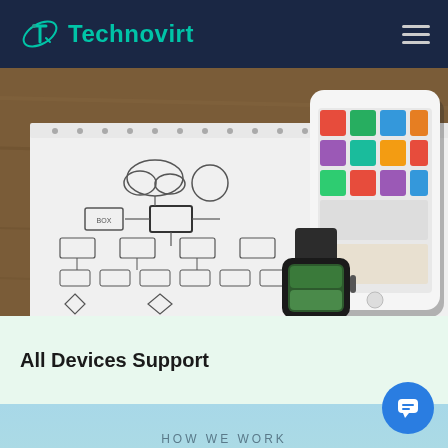Technovirt
[Figure (photo): Photo of a notebook with hand-drawn wireframe/flowchart diagrams, a smartphone showing colorful app screens, and a smartwatch on a wooden table surface.]
All Devices Support
HOW WE WORK
OUR PROCESS
Well-designed websites offer much more th...